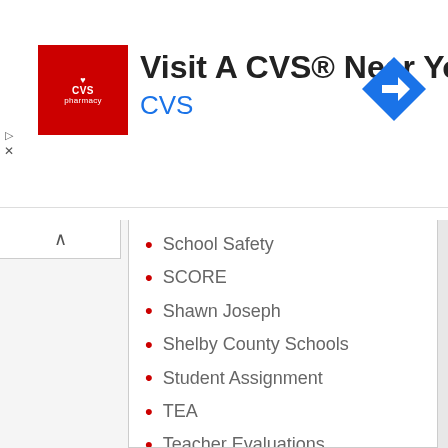[Figure (other): CVS Pharmacy advertisement banner with red CVS pharmacy logo, text 'Visit A CVS® Near You' and 'CVS' in blue, and a blue diamond-shaped navigation arrow icon on the right]
School Safety
SCORE
Shawn Joseph
Shelby County Schools
Student Assignment
TEA
Teacher Evaluations
Teacher Pay
Teacher Prep
Teacher Preparation